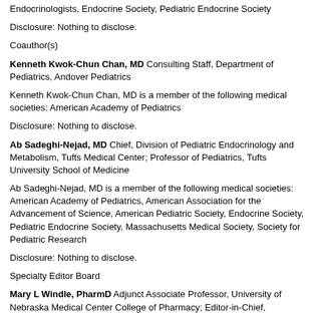Endocrinologists, Endocrine Society, Pediatric Endocrine Society
Disclosure: Nothing to disclose.
Coauthor(s)
Kenneth Kwok-Chun Chan, MD Consulting Staff, Department of Pediatrics, Andover Pediatrics
Kenneth Kwok-Chun Chan, MD is a member of the following medical societies: American Academy of Pediatrics
Disclosure: Nothing to disclose.
Ab Sadeghi-Nejad, MD Chief, Division of Pediatric Endocrinology and Metabolism, Tufts Medical Center; Professor of Pediatrics, Tufts University School of Medicine
Ab Sadeghi-Nejad, MD is a member of the following medical societies: American Academy of Pediatrics, American Association for the Advancement of Science, American Pediatric Society, Endocrine Society, Pediatric Endocrine Society, Massachusetts Medical Society, Society for Pediatric Research
Disclosure: Nothing to disclose.
Specialty Editor Board
Mary L Windle, PharmD Adjunct Associate Professor, University of Nebraska Medical Center College of Pharmacy; Editor-in-Chief, Medscape Drug Reference